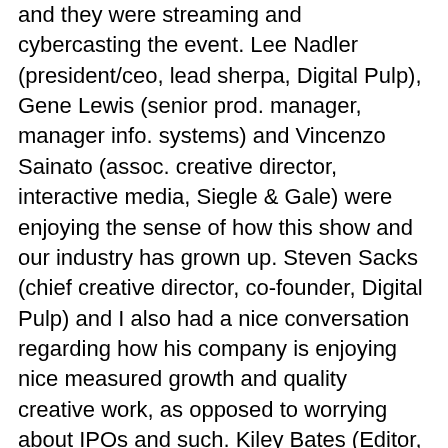and they were streaming and cybercasting the event. Lee Nadler (president/ceo, lead sherpa, Digital Pulp), Gene Lewis (senior prod. manager, manager info. systems) and Vincenzo Sainato (assoc. creative director, interactive media, Siegle & Gale) were enjoying the sense of how this show and our industry has grown up. Steven Sacks (chief creative director, co-founder, Digital Pulp) and I also had a nice conversation regarding how his company is enjoying nice measured growth and quality creative work, as opposed to worrying about IPOs and such. Kiley Bates (Editor, Urban Desires.com) was quite smashing in a slinky powder blue halter top and pixie haircut. Jason Parkin of Blue Dingo and Mike Essl and I all marveled at the fantastical solo dancing by Jason Wurtzel, senior engineer at Nicholson NY. Tom Nicholson might have been doing a private jig himself, considering his company enjoyed the honor of Best of Show for best self-promotion with their snowball fight holiday card. So successful it was that apparently school teachers called requesting their school's IPs be blocked as students were playing the game as opposed to researching on the Net. Honestly, throwing snowballs doesn't seem so bad considering what else is out there. Kyle Shannon of Agency.com, Alice O'Rourke of NYNMA were among the